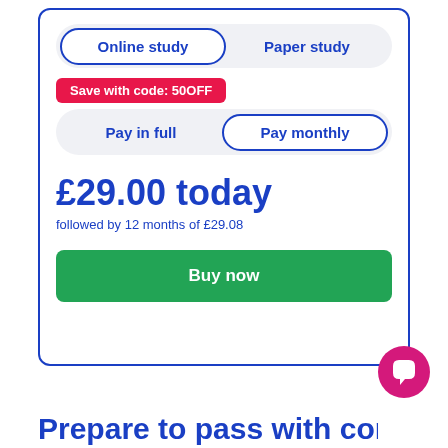Online study | Paper study
Save with code: 50OFF
Pay in full | Pay monthly
£29.00 today
followed by 12 months of £29.08
Buy now
[Figure (illustration): Pink circular chat/message icon button]
Prepate to pass with confide...